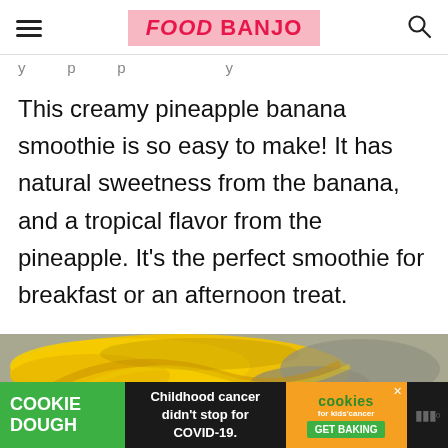FOOD BANJO
y p p y
This creamy pineapple banana smoothie is so easy to make! It has natural sweetness from the banana, and a tropical flavor from the pineapple. It's the perfect smoothie for breakfast or an afternoon treat.
[Figure (photo): Photo of bananas on a gray surface]
[Figure (infographic): Advertisement banner: COOKIE DOUGH - Childhood cancer didn't stop for COVID-19 - cookies for kids cancer - GET BAKING]